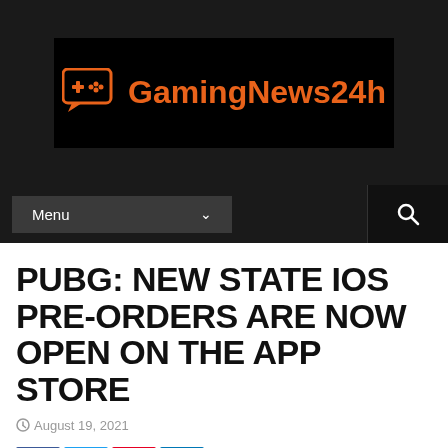[Figure (logo): GamingNews24h logo — black background with orange game controller chat bubble icon and orange text 'GamingNews24h']
Menu  [search icon]
PUBG: NEW STATE IOS PRE-ORDERS ARE NOW OPEN ON THE APP STORE
August 19, 2021
[Figure (infographic): Social share buttons: Facebook (blue), Twitter (light blue), Pinterest (red), LinkedIn (dark blue)]